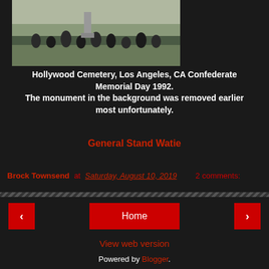[Figure (photo): Group photo at Hollywood Cemetery, Los Angeles, CA — Confederate Memorial Day 1992. People in period attire gathered outdoors.]
Hollywood Cemetery, Los Angeles, CA Confederate Memorial Day 1992.
The monument in the background was removed earlier most unfortunately.
General Stand Watie
Brock Townsend at Saturday, August 10, 2019   2 comments:
Home
View web version
Powered by Blogger.